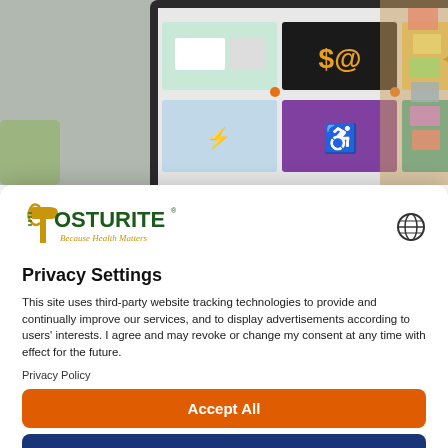[Figure (screenshot): Hero image showing a tablet/screen displaying a grid of colorful topic tiles (finance, business, energy, accessibility, etc.) with sticky notes on a corkboard to the right.]
[Figure (logo): Posturite logo — stylized spine forming the P, green and gold text reading POSTURITE with tagline 'Because Health Matters']
Privacy Settings
This site uses third-party website tracking technologies to provide and continually improve our services, and to display advertisements according to users' interests. I agree and may revoke or change my consent at any time with effect for the future.
Privacy Policy
Accept All
Manage cookies
Powered by Usercentrics Consent Management